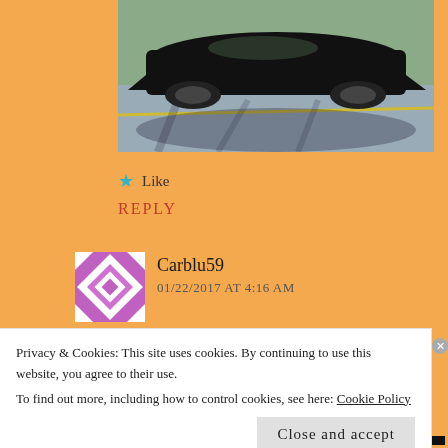[Figure (photo): A black classic convertible car driving on a road, photographed from behind/side, with trees in background and road shadows visible.]
★ Like
REPLY
[Figure (photo): User avatar for Carblu59 - a pink and white geometric quilt-pattern square icon.]
Carblu59
01/22/2017 AT 4:16 AM
Privacy & Cookies: This site uses cookies. By continuing to use this website, you agree to their use.
To find out more, including how to control cookies, see here: Cookie Policy
Close and accept